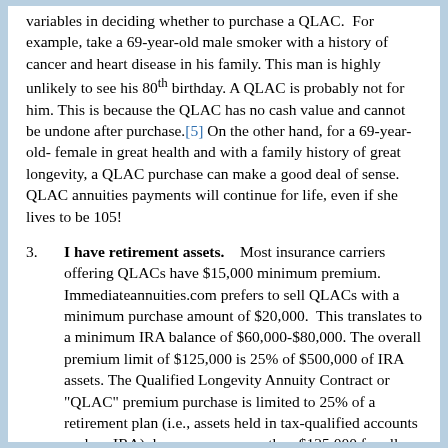variables in deciding whether to purchase a QLAC. For example, take a 69-year-old male smoker with a history of cancer and heart disease in his family. This man is highly unlikely to see his 80th birthday. A QLAC is probably not for him. This is because the QLAC has no cash value and cannot be undone after purchase.[5] On the other hand, for a 69-year-old-female in great health and with a family history of great longevity, a QLAC purchase can make a good deal of sense. QLAC annuities payments will continue for life, even if she lives to be 105!
3. I have retirement assets. Most insurance carriers offering QLACs have $15,000 minimum premium. Immediateannuities.com prefers to sell QLACs with a minimum purchase amount of $20,000. This translates to a minimum IRA balance of $60,000-$80,000. The overall premium limit of $125,000 is 25% of $500,000 of IRA assets. The Qualified Longevity Annuity Contract or "QLAC" premium purchase is limited to 25% of a retirement plan (i.e., assets held in tax-qualified accounts such as an IRA). however, no more than $125,000 for all...